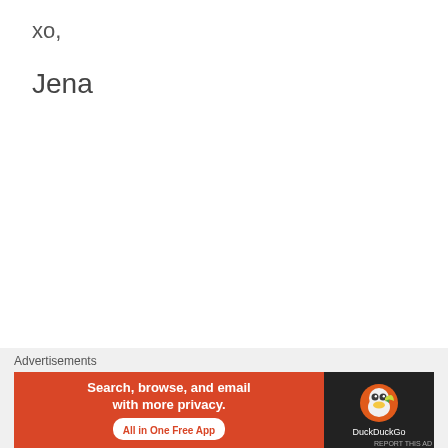xo,
Jena
Advertisements
[Figure (other): DuckDuckGo advertisement banner: orange left side with text 'Search, browse, and email with more privacy. All in One Free App' and dark right side with DuckDuckGo duck logo and brand name.]